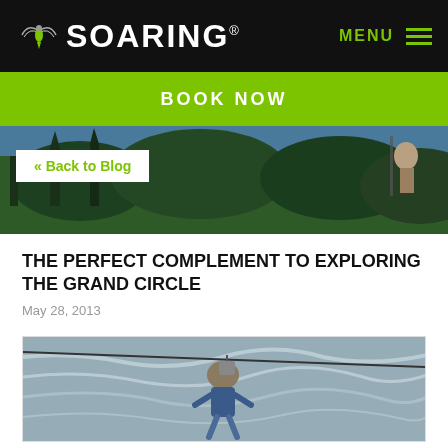SOARING
BOOK NOW
« Back to Blog
THE PERFECT COMPLEMENT TO EXPLORING THE GRAND CIRCLE
May 28, 2013
[Figure (photo): Person on zipline over rushing river with mountain and forest background]